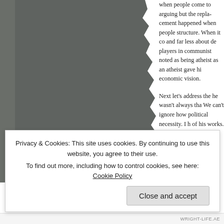[Figure (photo): A dark grey photograph or illustration on the left side of the page, with a torn/ragged right edge blending into the background.]
when people come to arguing but the replacement happened when people structure. When it co and far less about de players in communis noted as being atheis as an atheist gave hi economic vision.

Next let's address the he wasn't always tha We can't ignore how political necessity. I h of his works. He does s d
Privacy & Cookies: This site uses cookies. By continuing to use this website, you agree to their use.
To find out more, including how to control cookies, see here: Cookie Policy
Close and accept
WRIGHT-LIFE.AE